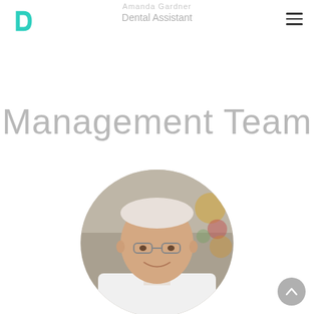Dental Assistant
Management Team
[Figure (photo): Circular cropped photo of an elderly male doctor with white hair, glasses, and a white lab coat with a blue lanyard, smiling outdoors in an urban setting.]